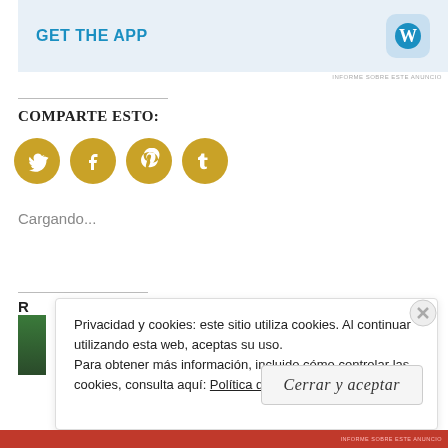[Figure (screenshot): App advertisement banner with 'GET THE APP' text in blue and WordPress W icon on blue-gray background]
INFORME SOBRE ESTE ANUNCIO
COMPARTE ESTO:
[Figure (infographic): Four golden circular social media share buttons: Twitter, Facebook, Pinterest, Tumblr]
Cargando...
Privacidad y cookies: este sitio utiliza cookies. Al continuar utilizando esta web, aceptas su uso.
Para obtener más información, incluido cómo controlar las cookies, consulta aquí: Política de cookies
Cerrar y aceptar